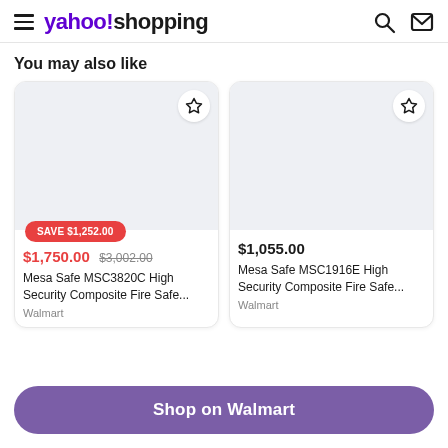yahoo!shopping
You may also like
[Figure (screenshot): Product card for Mesa Safe MSC3820C High Security Composite Fire Safe with SAVE $1,252.00 badge, sale price $1,750.00, original price $3,002.00, sold by Walmart]
[Figure (screenshot): Product card for Mesa Safe MSC1916E High Security Composite Fire Safe, price $1,055.00, sold by Walmart]
Shop on Walmart